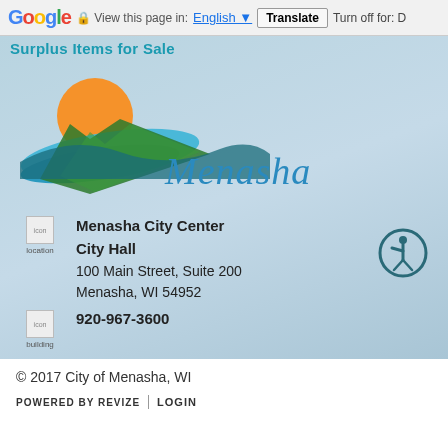Google | View this page in: English | Translate | Turn off for: D
Surplus Items for Sale
[Figure (logo): City of Menasha logo with orange sun and blue/green wave design, with cursive Menasha text]
Menasha City Center
City Hall
100 Main Street, Suite 200
Menasha, WI 54952
920-967-3600
© 2017 City of Menasha, WI
POWERED BY REVIZE | LOGIN